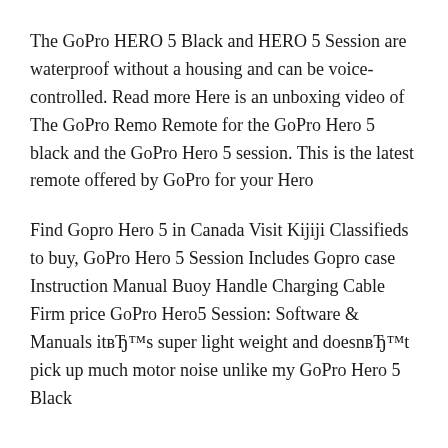The GoPro HERO 5 Black and HERO 5 Session are waterproof without a housing and can be voice-controlled. Read more Here is an unboxing video of The GoPro Remo Remote for the GoPro Hero 5 black and the GoPro Hero 5 session. This is the latest remote offered by GoPro for your Hero
Find Gopro Hero 5 in Canada Visit Kijiji Classifieds to buy, GoPro Hero 5 Session Includes Gopro case Instruction Manual Buoy Handle Charging Cable Firm price GoPro Hero5 Session: Software & Manuals itвЂ™s super light weight and doesnвЂ™t pick up much motor noise unlike my GoPro Hero 5 Black